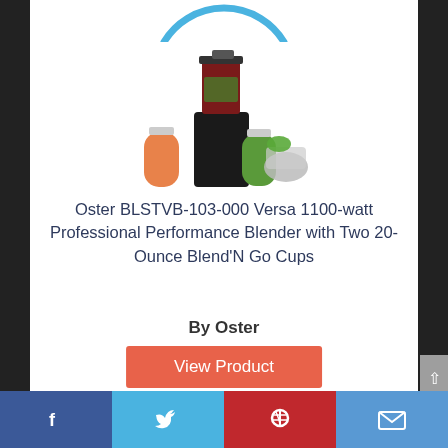[Figure (illustration): Partial blue circular arc/logo at top of content area]
[Figure (photo): Product photo of Oster BLSTVB-103-000 Versa blender set with multiple containers and cups]
Oster BLSTVB-103-000 Versa 1100-watt Professional Performance Blender with Two 20-Ounce Blend'N Go Cups
By Oster
View Product
8.7
Score
[Figure (infographic): Social media share bar at bottom with Facebook, Twitter, Pinterest, and Email buttons]